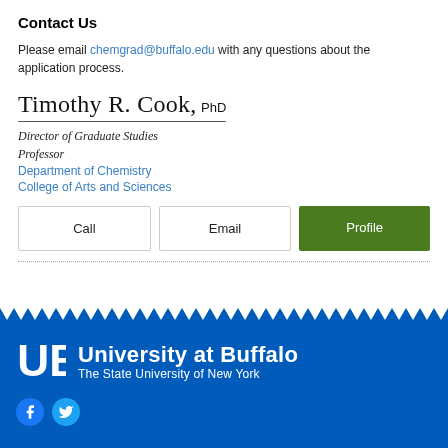Contact Us
Please email chemgrad@buffalo.edu with any questions about the application process.
Timothy R. Cook, PhD
Director of Graduate Studies
Professor
Department of Chemistry
College of Arts and Sciences
Call   Email   Profile
[Figure (logo): University at Buffalo logo with UB shield and text 'University at Buffalo, The State University of New York' on blue background with zigzag top border and social media icons]